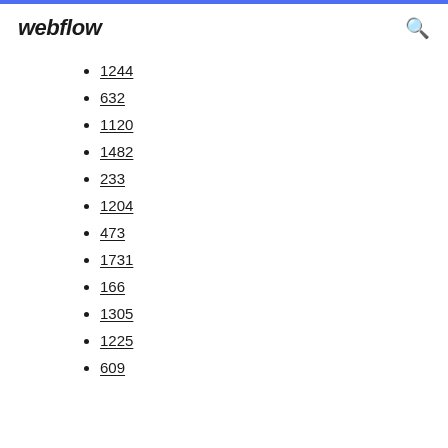webflow
1244
632
1120
1482
233
1204
473
1731
166
1305
1225
609